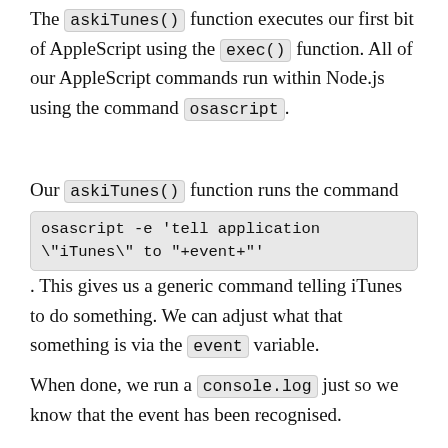The askiTunes() function executes our first bit of AppleScript using the exec() function. All of our AppleScript commands run within Node.js using the command osascript.
Our askiTunes() function runs the command osascript -e 'tell application \"iTunes\" to "+event+"'. This gives us a generic command telling iTunes to do something. We can adjust what that something is via the event variable.
When done, we run a console.log just so we know that the event has been recognised.